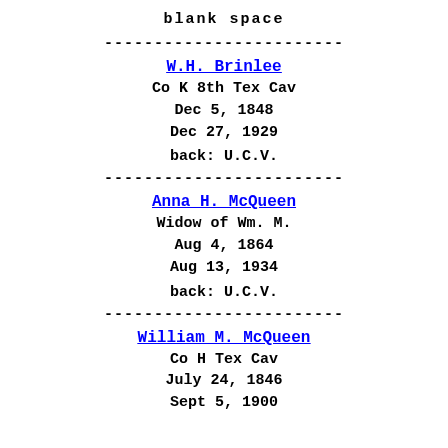blank space
------------------------
W.H. Brinlee
Co K 8th Tex Cav
Dec 5, 1848
Dec 27, 1929

back: U.C.V.
------------------------
Anna H. McQueen
Widow of Wm. M.
Aug 4, 1864
Aug 13, 1934

back: U.C.V.
------------------------
William M. McQueen
Co H Tex Cav
July 24, 1846
Sept 5, 1900